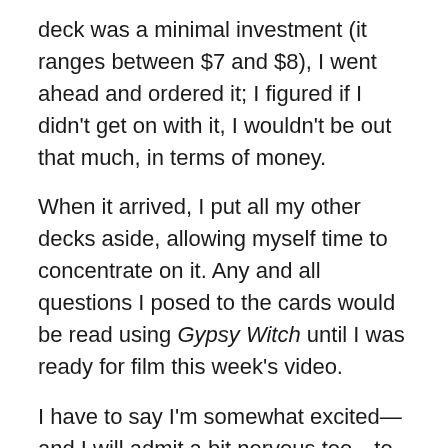deck was a minimal investment (it ranges between $7 and $8), I went ahead and ordered it; I figured if I didn't get on with it, I wouldn't be out that much, in terms of money.
When it arrived, I put all my other decks aside, allowing myself time to concentrate on it. Any and all questions I posed to the cards would be read using Gypsy Witch until I was ready for film this week's video.
I have to say I'm somewhat excited—and I will admit a bit nervous too—to be experimenting with a relatively new (to me) deck.
I'm taking the deck in hand, shuffling the cards, and asking the general question, "What do we need to know about the possibilities for the week ahead?"
This week's video reveals the cards for our reading: